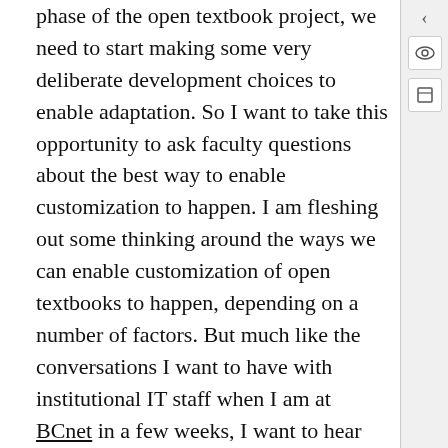phase of the open textbook project, we need to start making some very deliberate development choices to enable adaptation. So I want to take this opportunity to ask faculty questions about the best way to enable customization to happen. I am fleshing out some thinking around the ways we can enable customization of open textbooks to happen, depending on a number of factors. But much like the conversations I want to have with institutional IT staff when I am at BCnet in a few weeks, I want to hear from those that are on the ground what we can do to enable them to do the types of adaptations they need to do in order to adopt the material.
Registration is closed, but we will be live streaming if you want to join in virtually. Twitter hashtag is #otsummit.